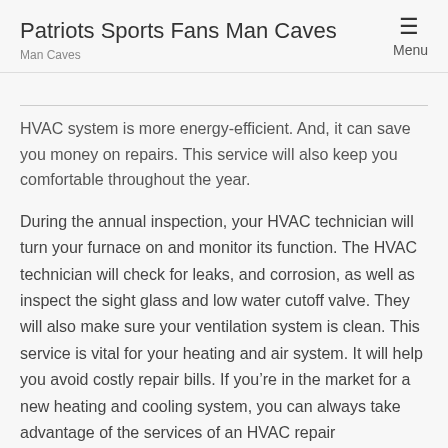Patriots Sports Fans Man Caves
Man Caves
HVAC system is more energy-efficient. And, it can save you money on repairs. This service will also keep you comfortable throughout the year.
During the annual inspection, your HVAC technician will turn your furnace on and monitor its function. The HVAC technician will check for leaks, and corrosion, as well as inspect the sight glass and low water cutoff valve. They will also make sure your ventilation system is clean. This service is vital for your heating and air system. It will help you avoid costly repair bills. If you’re in the market for a new heating and cooling system, you can always take advantage of the services of an HVAC repair